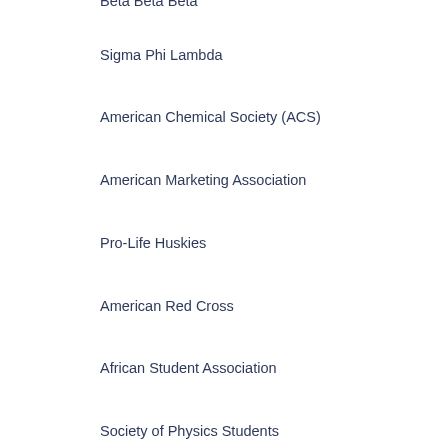Beta Beta Beta
Sigma Phi Lambda
American Chemical Society (ACS)
American Marketing Association
Pro-Life Huskies
American Red Cross
African Student Association
Society of Physics Students
Phi Alpha Theta
Black Student Union
Alpha Epsilon Delta (AED)
Christians for Israel Association
Music Student Association
Association of Student Educators
Table Tennis Club
Engineeriocity
Huskies American Sign Language